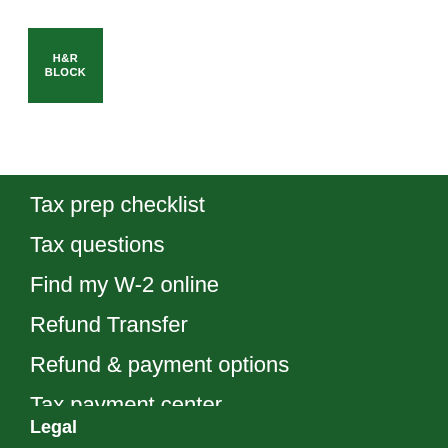[Figure (logo): H&R Block green square logo with white text]
Tax prep checklist
Tax questions
Find my W-2 online
Refund Transfer
Refund & payment options
Tax payment center
Where’s my refund?
W-4 calculator
Legal